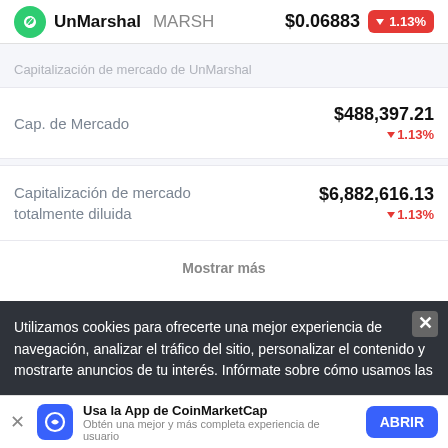UnMarshal MARSH $0.06883 ▼1.13%
Capitalización de mercado de UnMarshal
| Métrica | Valor | Cambio |
| --- | --- | --- |
| Cap. de Mercado | $488,397.21 | ▼1.13% |
| Capitalización de mercado totalmente diluida | $6,882,616.13 | ▼1.13% |
Mostrar más
Utilizamos cookies para ofrecerte una mejor experiencia de navegación, analizar el tráfico del sitio, personalizar el contenido y mostrarte anuncios de tu interés. Infórmate sobre cómo usamos las
Usa la App de CoinMarketCap
Obtén una mejor y más completa experiencia de usuario